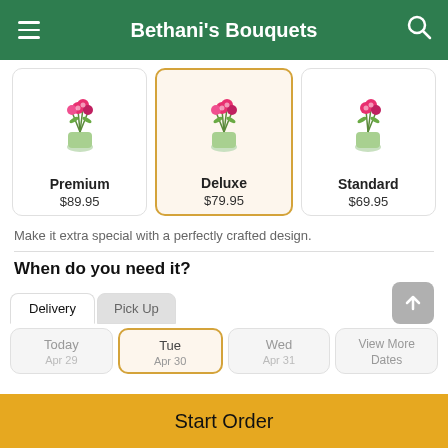Bethani's Bouquets
[Figure (screenshot): Three product cards showing Premium ($89.95), Deluxe ($79.95, selected), and Standard ($69.95) bouquet options with flower images]
Make it extra special with a perfectly crafted design.
When do you need it?
Delivery  |  Pick Up (tabs)
Today | Tue | Wed | View More (date selector)
Start Order